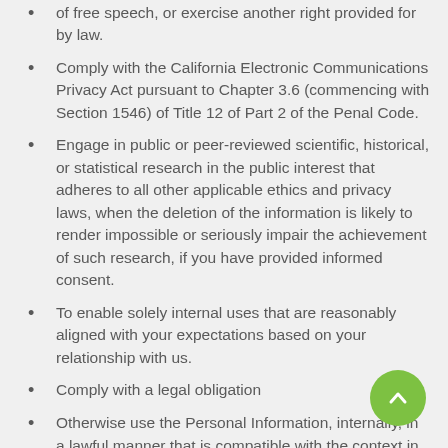of free speech, or exercise another right provided for by law.
Comply with the California Electronic Communications Privacy Act pursuant to Chapter 3.6 (commencing with Section 1546) of Title 12 of Part 2 of the Penal Code.
Engage in public or peer-reviewed scientific, historical, or statistical research in the public interest that adheres to all other applicable ethics and privacy laws, when the deletion of the information is likely to render impossible or seriously impair the achievement of such research, if you have provided informed consent.
To enable solely internal uses that are reasonably aligned with your expectations based on your relationship with us.
Comply with a legal obligation
Otherwise use the Personal Information, internally, in a lawful manner that is compatible with the context in which you